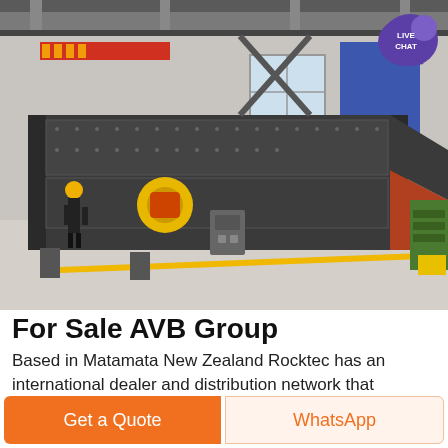[Figure (photo): Industrial vibrating screen machine (large rectangular sieving equipment with yellow motor) on a factory floor in China. A worker in a yellow hard hat is visible on the left. The machine is dark grey/black metal construction with orange accents. A LIVE CHAT speech bubble badge appears in the upper right corner.]
For Sale AVB Group
Based in Matamata New Zealand Rocktec has an international dealer and distribution network that
Get a Quote
WhatsApp